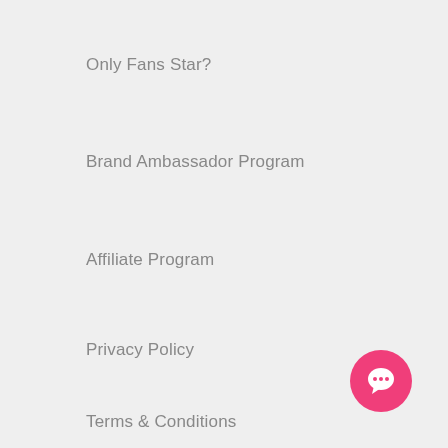Only Fans Star?
Brand Ambassador Program
Affiliate Program
Privacy Policy
Terms & Conditions
Gay Sex Toy Brands
Bathmate
Fleshlight
[Figure (illustration): Pink circular chat/message button icon with white speech bubble in bottom-right corner]